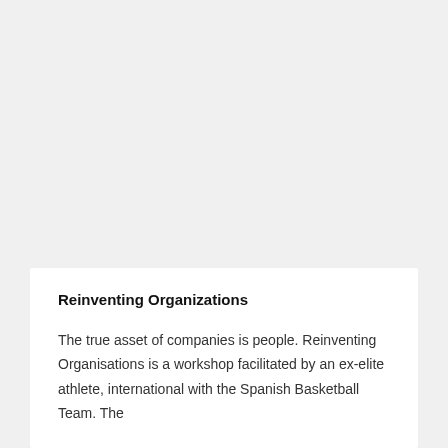Reinventing Organizations
The true asset of companies is people. Reinventing Organisations is a workshop facilitated by an ex-elite athlete, international with the Spanish Basketball Team. The